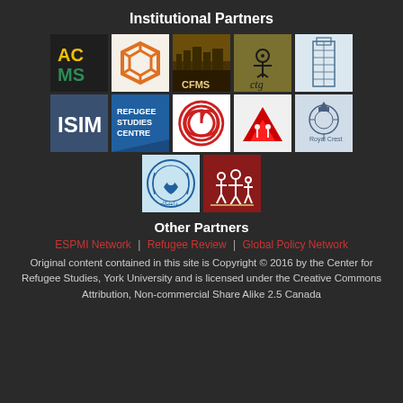Institutional Partners
[Figure (logo): Grid of 12 institutional partner logos in 3 rows: Row 1: ACMS (dark bg, yellow/green letters), orange geometric logo, CFMS (brown landscape), CTG (olive/khaki), building/skyscraper outline; Row 2: ISIM (navy blue), Refugee Studies Centre (blue), spiral logo (white bg), red house/mountain logo, royal crest (light blue); Row 3: circular Arabic/Persian university emblem (light blue), red square with white family silhouettes]
Other Partners
ESPMI Network | Refugee Review | Global Policy Network
Original content contained in this site is Copyright © 2016 by the Center for Refugee Studies, York University and is licensed under the Creative Commons Attribution, Non-commercial Share Alike 2.5 Canada